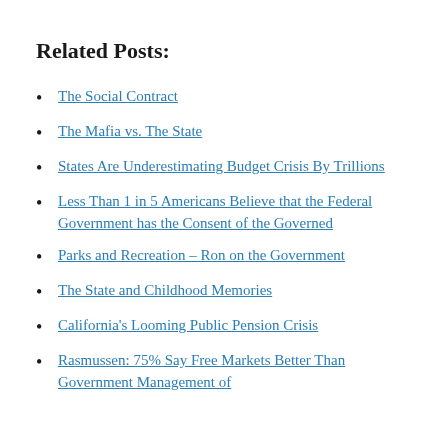Related Posts:
The Social Contract
The Mafia vs. The State
States Are Underestimating Budget Crisis By Trillions
Less Than 1 in 5 Americans Believe that the Federal Government has the Consent of the Governed
Parks and Recreation – Ron on the Government
The State and Childhood Memories
California's Looming Public Pension Crisis
Rasmussen: 75% Say Free Markets Better Than Government Management of